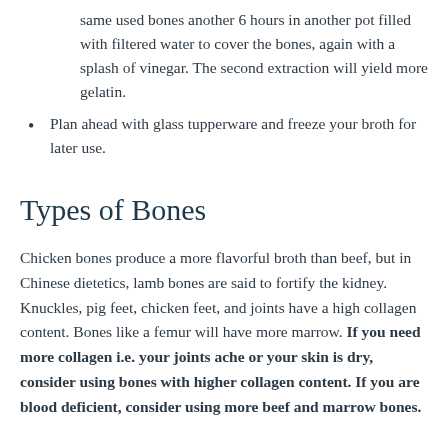same used bones another 6 hours in another pot filled with filtered water to cover the bones, again with a splash of vinegar. The second extraction will yield more gelatin.
Plan ahead with glass tupperware and freeze your broth for later use.
Types of Bones
Chicken bones produce a more flavorful broth than beef, but in Chinese dietetics, lamb bones are said to fortify the kidney. Knuckles, pig feet, chicken feet, and joints have a high collagen content. Bones like a femur will have more marrow. If you need more collagen i.e. your joints ache or your skin is dry, consider using bones with higher collagen content. If you are blood deficient, consider using more beef and marrow bones.